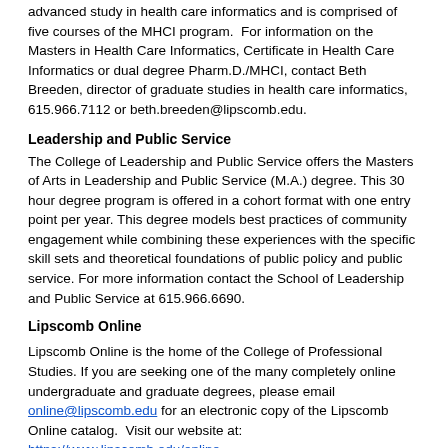advanced study in health care informatics and is comprised of five courses of the MHCI program.  For information on the Masters in Health Care Informatics, Certificate in Health Care Informatics or dual degree Pharm.D./MHCI, contact Beth Breeden, director of graduate studies in health care informatics, 615.966.7112 or beth.breeden@lipscomb.edu.
Leadership and Public Service
The College of Leadership and Public Service offers the Masters of Arts in Leadership and Public Service (M.A.) degree. This 30 hour degree program is offered in a cohort format with one entry point per year. This degree models best practices of community engagement while combining these experiences with the specific skill sets and theoretical foundations of public policy and public service. For more information contact the School of Leadership and Public Service at 615.966.6690.
Lipscomb Online
Lipscomb Online is the home of the College of Professional Studies. If you are seeking one of the many completely online undergraduate and graduate degrees, please email online@lipscomb.edu for an electronic copy of the Lipscomb Online catalog.  Visit our website at: https://www.lipscomb.edu/online
Pharmacy
The Lipscomb University College of Pharmacy and Health Sciences